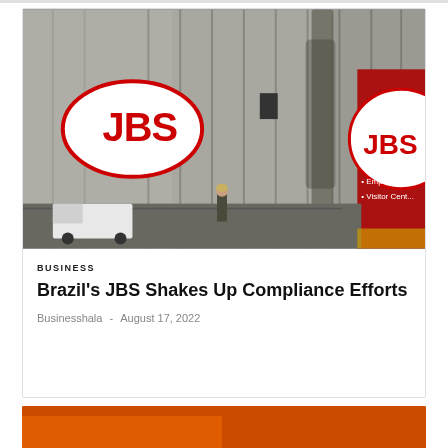[Figure (photo): Photo of JBS facility exterior showing large concrete grain silos with JBS oval logo in red and white on the left side. A partial JBS sign is visible on the right side with bullet points partially visible. A security or worker figure stands near a fence line, and a white truck is parked nearby.]
BUSINESS
Brazil's JBS Shakes Up Compliance Efforts
Businesshala - August 17, 2022
[Figure (photo): Partial view of another article's header image, showing an orange/red toned image, partially visible at the bottom of the page.]